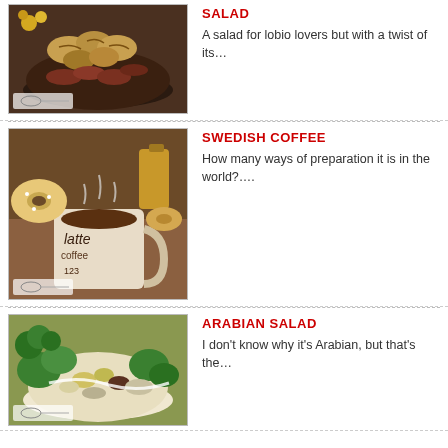[Figure (photo): Food photo showing a dish with walnuts and meat, a salad bowl]
SALAD
A salad for lobio lovers but with a twist of its…
[Figure (photo): Photo of a coffee mug with pastries and donuts in the background, Swedish coffee scene]
SWEDISH COFFEE
How many ways of preparation it is in the world?....
[Figure (photo): Photo of a salad with greens, vegetables, and creamy dressing — Arabian salad]
ARABIAN SALAD
I don't know why it's Arabian, but that's the…